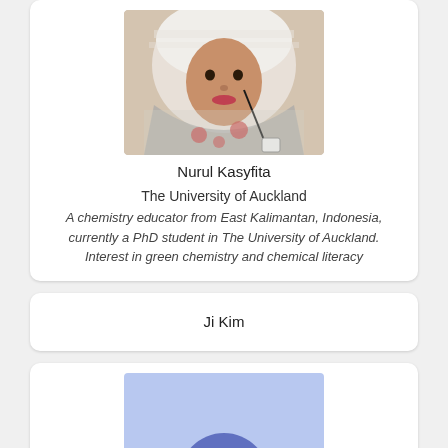[Figure (photo): Photo of Nurul Kasyfita wearing hijab and floral clothing, smiling]
Nurul Kasyfita
The University of Auckland
A chemistry educator from East Kalimantan, Indonesia, currently a PhD student in The University of Auckland. Interest in green chemistry and chemical literacy
Ji Kim
[Figure (illustration): Generic blue placeholder avatar with circle head shape on light blue background]